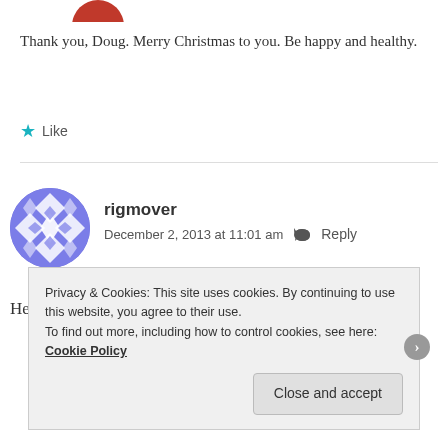[Figure (illustration): Partial red circular avatar at the top of the page]
Thank you, Doug. Merry Christmas to you. Be happy and healthy.
★ Like
[Figure (illustration): Blue geometric patterned circular avatar for user rigmover]
rigmover
December 2, 2013 at 11:01 am  Reply
Hey thanks for the visit and like on my blog, you have a
Privacy & Cookies: This site uses cookies. By continuing to use this website, you agree to their use.
To find out more, including how to control cookies, see here: Cookie Policy
Close and accept